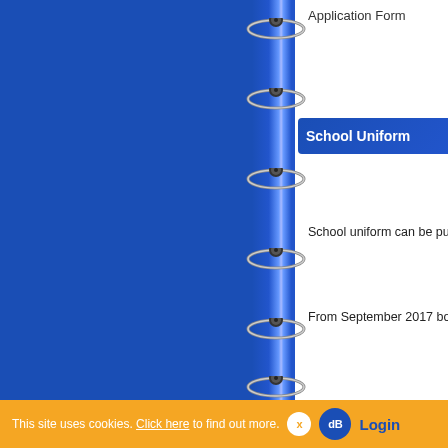Application Form
[Figure (illustration): Spiral-bound notebook left panel with blue cover and metallic coil binding rings running vertically down the center]
School Uniform
School uniform can be pu
From September 2017 boo
This site uses cookies. Click here to find out more. x Login